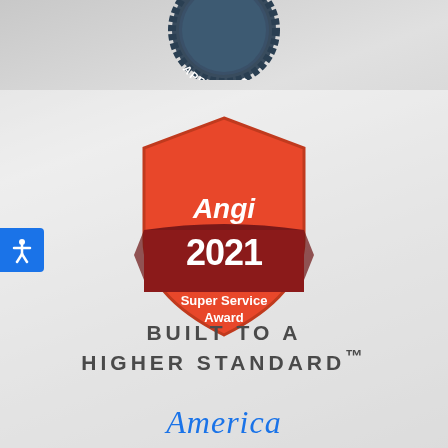[Figure (logo): Partial dark navy seal/badge at top with text APPROVED curved along the bottom arc]
[Figure (logo): Angi 2021 Super Service Award shield badge. Red shield shape with white Angi logo text at top, dark red banner in middle with white bold 2021, white text below reading Super Service Award]
[Figure (illustration): Blue accessibility icon button on left edge]
BUILT TO A HIGHER STANDARD™
America